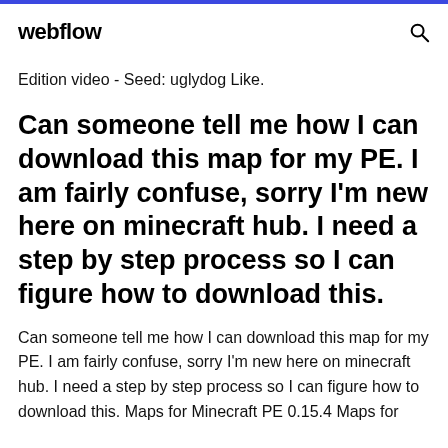webflow
Edition video - Seed: uglydog Like.
Can someone tell me how I can download this map for my PE. I am fairly confuse, sorry I'm new here on minecraft hub. I need a step by step process so I can figure how to download this.
Can someone tell me how I can download this map for my PE. I am fairly confuse, sorry I'm new here on minecraft hub. I need a step by step process so I can figure how to download this. Maps for Minecraft PE 0.15.4 Maps for